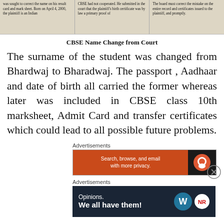[Figure (screenshot): Cropped newspaper article image showing three columns of text about a CBSE court case regarding name correction.]
CBSE Name Change from Court
The surname of the student was changed from Bhardwaj to Bharadwaj. The passport , Aadhaar and date of birth all carried the former whereas later was included in CBSE class 10th marksheet, Admit Card and transfer certificates which could lead to all possible future problems.
Advertisements
[Figure (screenshot): Advertisement banner: Search, browse, and email with more privacy. DuckDuckGo logo on dark background.]
Advertisements
[Figure (screenshot): Advertisement banner: Opinions. We all have them! WordPress and Newsroom logos on dark navy background.]